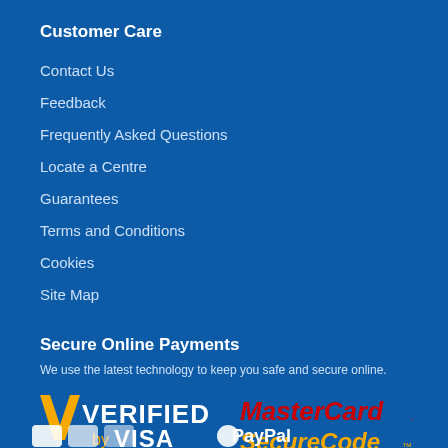Customer Care
Contact Us
Feedback
Frequently Asked Questions
Locate a Centre
Guarantees
Terms and Conditions
Cookies
Site Map
Secure Online Payments
We use the latest technology to keep you safe and secure online.
[Figure (logo): Verified by Visa logo]
[Figure (logo): MasterCard SecureCode logo]
[Figure (logo): Partial logos at bottom (cut off)]